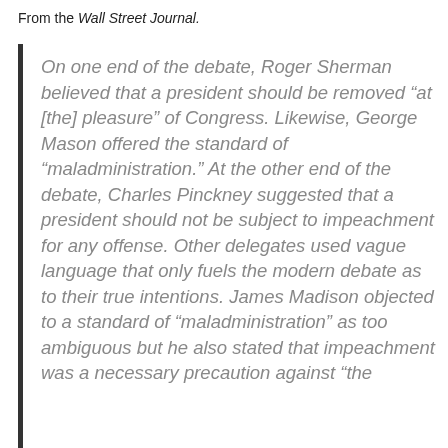From the Wall Street Journal.
On one end of the debate, Roger Sherman believed that a president should be removed “at [the] pleasure” of Congress. Likewise, George Mason offered the standard of “maladministration.” At the other end of the debate, Charles Pinckney suggested that a president should not be subject to impeachment for any offense. Other delegates used vague language that only fuels the modern debate as to their true intentions. James Madison objected to a standard of “maladministration” as too ambiguous but he also stated that impeachment was a necessary precaution against “the